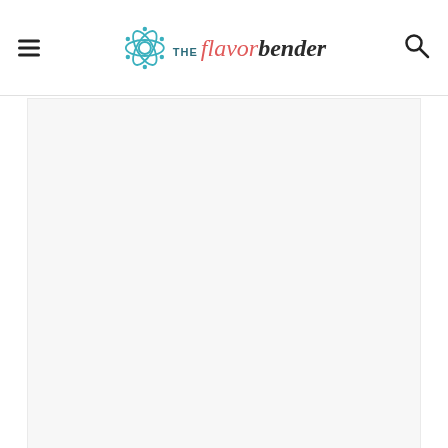THE flavor bender - website header with logo and navigation
[Figure (photo): Close-up photo of what appears to be dough or food wrapped in plastic wrap or foil, with a creamy/white coating, in a baking pan or tray]
1.4K